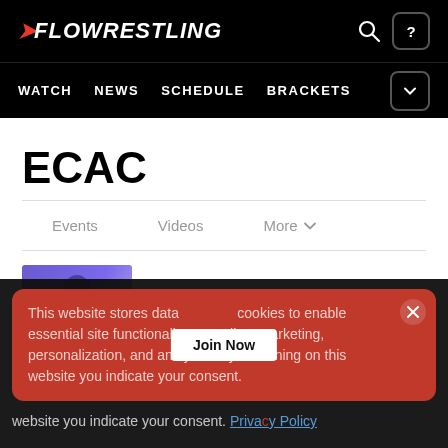FLOWRESTLING — WATCH, NEWS, SCHEDULE, BRACKETS
ECAC
Events
Videos
More
[Figure (screenshot): Thumbnail image for article about 21 World & Olympic Medals]
21 World & Olympic Medals Make This
This website stores data such as cookies to enable essential site functionality, as well as marketing, personalization, and analytics. By remaining on this website you indicate your consent. Join Now Privacy Policy